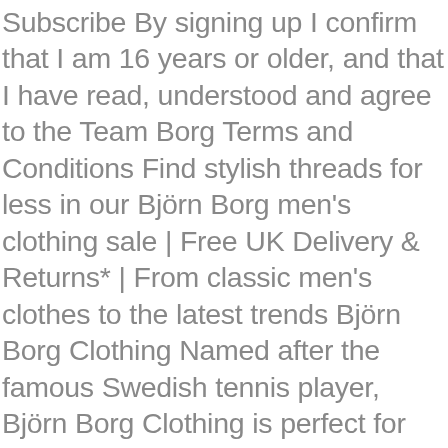Subscribe By signing up I confirm that I am 16 years or older, and that I have read, understood and agree to the Team Borg Terms and Conditions Find stylish threads for less in our Björn Borg men's clothing sale | Free UK Delivery & Returns* | From classic men's clothes to the latest trends Björn Borg Clothing Named after the famous Swedish tennis player, Björn Borg Clothing is perfect for the modern man or woman: sporty, vibrant, and a little unusual. You're a power user moving through this website with super-human speed. Distributed by Tubemogul. Shop for Björn Borg at John Lewis & Partners. Material : 100% cotton Colour : Navy WAIST S M ... Great Savings & Free Delivery / Collection on many items … BJÖRN BORG Centre Hoodie- Grey - UK 10/EU 38 - £57. markets are Germany and the United Kingdom. Change settings, FREE delivery on all orders over £80 | 90 days free return, As of 1 January 2021, we are unable to